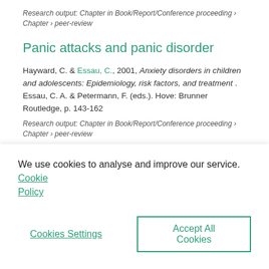Research output: Chapter in Book/Report/Conference proceeding › Chapter › peer-review
Panic attacks and panic disorder
Hayward, C. & Essau, C., 2001, Anxiety disorders in children and adolescents: Epidemiology, risk factors, and treatment . Essau, C. A. & Petermann, F. (eds.). Hove: Brunner Routledge, p. 143-162
Research output: Chapter in Book/Report/Conference proceeding › Chapter › peer-review
We use cookies to analyse and improve our service. Cookie Policy
Cookies Settings
Accept All Cookies